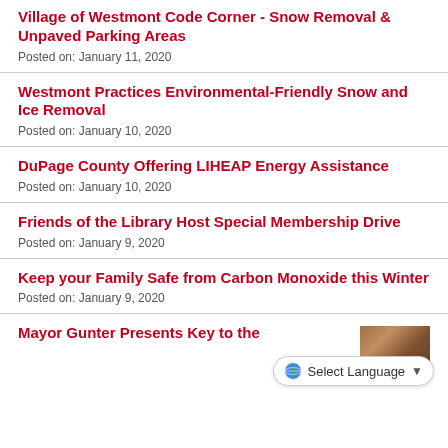Village of Westmont Code Corner - Snow Removal & Unpaved Parking Areas
Posted on: January 11, 2020
Westmont Practices Environmental-Friendly Snow and Ice Removal
Posted on: January 10, 2020
DuPage County Offering LIHEAP Energy Assistance
Posted on: January 10, 2020
Friends of the Library Host Special Membership Drive
Posted on: January 9, 2020
Keep your Family Safe from Carbon Monoxide this Winter
Posted on: January 9, 2020
Mayor Gunter Presents Key to the